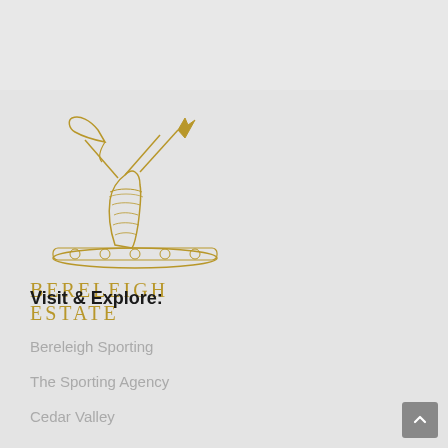[Figure (logo): Bereleigh Estate logo: a golden heraldic arm holding crossed weapons (axe and spear) above a decorative base]
BERELEIGH ESTATE
Visit & Explore:
Bereleigh Sporting
The Sporting Agency
Cedar Valley